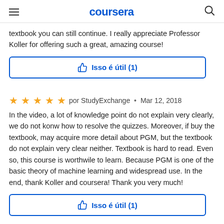coursera
textbook you can still continue. I really appreciate Professor Koller for offering such a great, amazing course!
Isso é útil (1)
por StudyExchange · Mar 12, 2018
In the video, a lot of knowledge point do not explain very clearly, we do not konw how to resolve the quizzes. Moreover, if buy the textbook, may acquire more detail about PGM, but the textbook do not explain very clear neither. Textbook is hard to read. Even so, this course is worthwile to learn. Because PGM is one of the basic theory of machine learning and widespread use. In the end, thank Koller and coursera! Thank you very much!
Isso é útil (1)